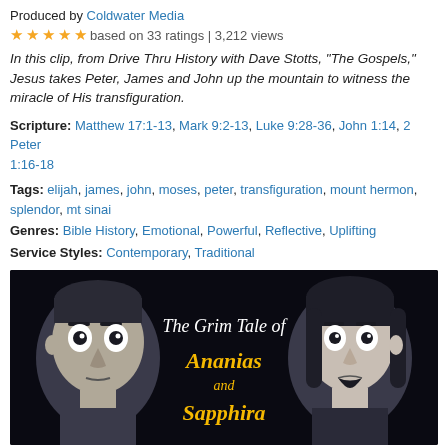Produced by Coldwater Media
★★★★★ based on 33 ratings | 3,212 views
In this clip, from Drive Thru History with Dave Stotts, "The Gospels," Jesus takes Peter, James and John up the mountain to witness the miracle of His transfiguration.
Scripture: Matthew 17:1-13, Mark 9:2-13, Luke 9:28-36, John 1:14, 2 Peter 1:16-18
Tags: elijah, james, john, moses, peter, transfiguration, mount hermon, splendor, mt sinai
Genres: Bible History, Emotional, Powerful, Reflective, Uplifting
Service Styles: Contemporary, Traditional
[Figure (illustration): Animated illustration showing two stylized characters (a man and a woman) flanking title text 'The Grim Tale of Ananias and Sapphira' on a dark background. The text 'Ananias and Sapphira' is in yellow/gold script font.]